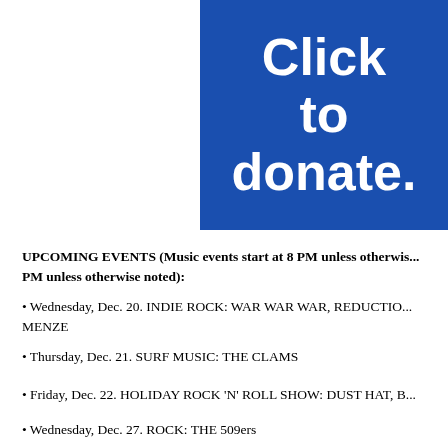[Figure (infographic): Blue banner with white bold text reading 'Click to donate.' on a royal blue background, occupying the upper right portion of the page.]
UPCOMING EVENTS (Music events start at 8 PM unless otherwise noted; Comedy events start at 8 PM unless otherwise noted):
• Wednesday, Dec. 20. INDIE ROCK: WAR WAR WAR, REDUCTION, MENZE
• Thursday, Dec. 21. SURF MUSIC: THE CLAMS
• Friday, Dec. 22. HOLIDAY ROCK 'N' ROLL SHOW: DUST HAT, B...
• Wednesday, Dec. 27. ROCK: THE 509ers